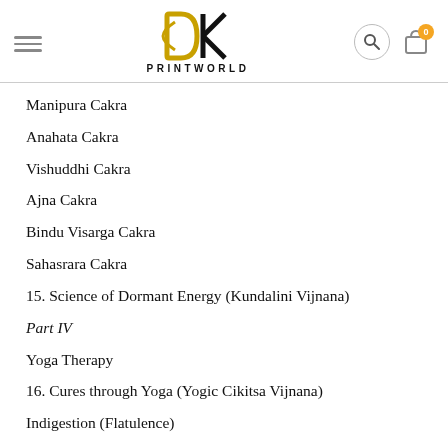DK PRINTWORLD
Manipura Cakra
Anahata Cakra
Vishuddhi Cakra
Ajna Cakra
Bindu Visarga Cakra
Sahasrara Cakra
15. Science of Dormant Energy (Kundalini Vijnana)
Part IV
Yoga Therapy
16. Cures through Yoga (Yogic Cikitsa Vijnana)
Indigestion (Flatulence)
Stomach Ulcer
Stomach Ailments (Intestines, Acidity)
Amva Srava Girana
Intestinal Worms
Back Rest...